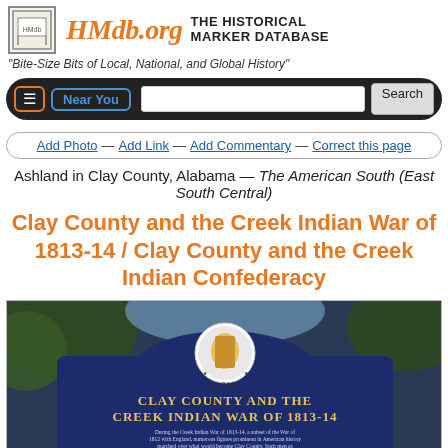HMdb.org THE HISTORICAL MARKER DATABASE
"Bite-Size Bits of Local, National, and Global History"
≡ Near You [search bar] Search
Add Photo — Add Link — Add Commentary — Correct this page
Ashland in Clay County, Alabama — The American South (East South Central)
Clay County and the Creek Indian War of 1813-14 / Clay County and the Creek Indian Confederacy
[Figure (photo): Photo of a historical marker reading CLAY COUNTY AND THE CREEK INDIAN WAR OF 1813-14, dark blue sign with Alabama Great Seal at top, text describing the Creek Indian War of 1813-14]